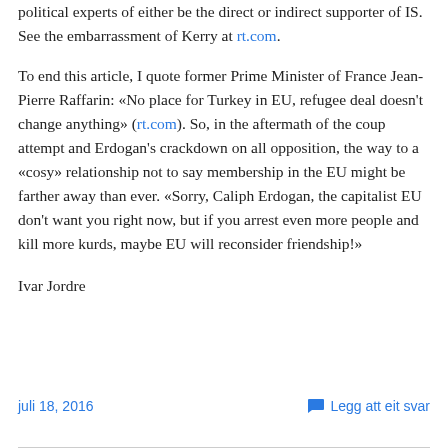political experts of either be the direct or indirect supporter of IS. See the embarrassment of Kerry at rt.com.
To end this article, I quote former Prime Minister of France Jean-Pierre Raffarin: «No place for Turkey in EU, refugee deal doesn't change anything» (rt.com). So, in the aftermath of the coup attempt and Erdogan's crackdown on all opposition, the way to a «cosy» relationship not to say membership in the EU might be farther away than ever. «Sorry, Caliph Erdogan, the capitalist EU don't want you right now, but if you arrest even more people and kill more kurds, maybe EU will reconsider friendship!»
Ivar Jordre
juli 18, 2016   Legg att eit svar